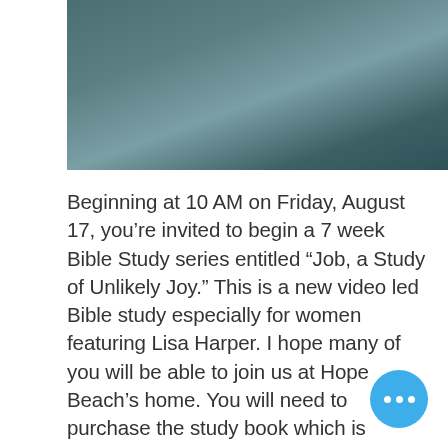[Figure (photo): A blurred teal/dark teal image occupying the top portion of the page]
Beginning at 10 AM on Friday, August 17, you're invited to begin a 7 week Bible Study series entitled “Job, a Study of Unlikely Joy.”  This is a new video led Bible study especially for women featuring Lisa Harper.  I hope many of you will be able to join us at Hope Beach's home.  You will need to purchase the study book which is available through Lifeway or Am...